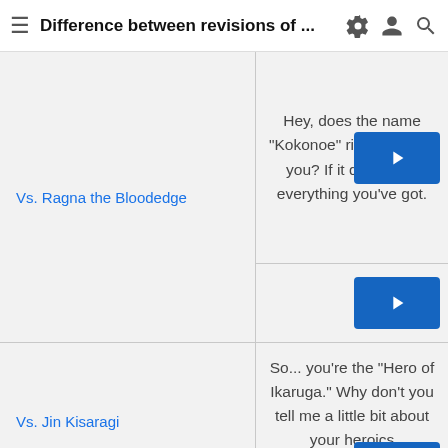Difference between revisions of ...
| Situation | Quote | Audio |
| --- | --- | --- |
| Vs. Ragna the Bloodedge | Hey, does the name "Kokonoe" ring a bell for you? If it does, spill everything you've got. | [play] |
|  |  | [play] |
| Vs. Jin Kisaragi | So... you're the "Hero of Ikaruga." Why don't you tell me a little bit about your heroics | [play] |